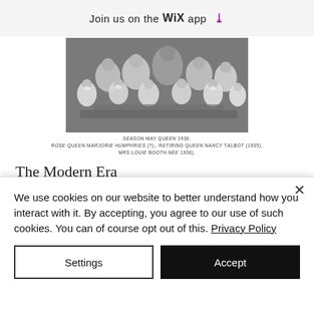Join us on the WiX app ↓
[Figure (photo): Black and white historical photograph of children and adults in ceremonial or festive dress, likely a Rose Queen ceremony. Multiple young girls in white dresses with flower garlands are arranged in a group.]
SSEASON MAY QUEEN 1936.
ROSE QUEEN MARJORIE HUMPHRIES (?)., RETIRING QUEEN NANCY TALBOT (1935).
MRS LOUIE BOOTH (née 1936).
The Modern Era
In 1939 war again brought annual festivities all over the country to a halt.  Even with the end of hostilities times remained hard due to rationing. Perhaps it was the severe winter of 1947 that finally prompted local organisers to strive to resurrect the event and put a
We use cookies on our website to better understand how you interact with it. By accepting, you agree to our use of such cookies. You can of course opt out of this. Privacy Policy
Settings
Accept